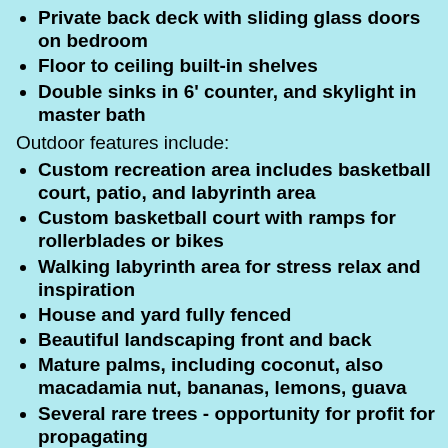Private back deck with sliding glass doors on bedroom
Floor to ceiling built-in shelves
Double sinks in 6' counter, and skylight in master bath
Outdoor features include:
Custom recreation area includes basketball court, patio, and labyrinth area
Custom basketball court with ramps for rollerblades or bikes
Walking labyrinth area for stress relax and inspiration
House and yard fully fenced
Beautiful landscaping front and back
Mature palms, including coconut, also macadamia nut, bananas, lemons, guava
Several rare trees - opportunity for profit for propagating
New roof, new approx. 10,000 gal stainless steel water tank(catchment water)